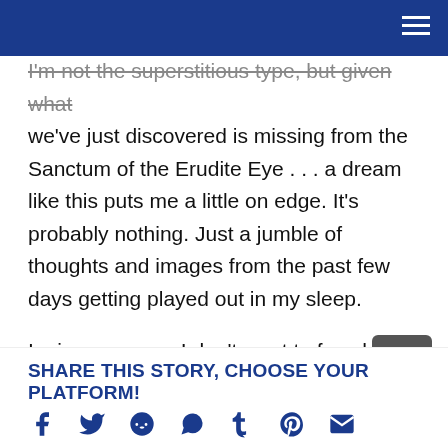I'm not the superstitious type, but given what we've just discovered is missing from the Sanctum of the Erudite Eye . . . a dream like this puts me a little on edge. It's probably nothing. Just a jumble of thoughts and images from the past few days getting played out in my sleep.
I miss my mom. I don't want to face her, or any of them. I don't want to put that mask back on, the one where I had a family with brothers and expectations.
SHARE THIS STORY, CHOOSE YOUR PLATFORM!